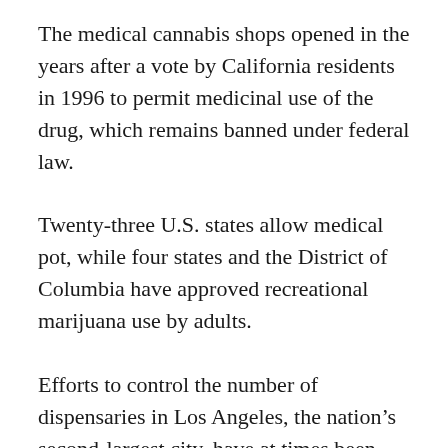The medical cannabis shops opened in the years after a vote by California residents in 1996 to permit medicinal use of the drug, which remains banned under federal law.
Twenty-three U.S. states allow medical pot, while four states and the District of Columbia have approved recreational marijuana use by adults.
Efforts to control the number of dispensaries in Los Angeles, the nation's second-largest city, have at times been compared with a game of whack-a-mole, as the owners of some shops move their businesses to escape enforcement.